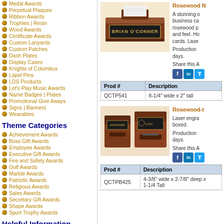Medal Awards
Perpetual Plaques
Ribbon Awards
Trophies | Resin
Wood Awards
Certificate Awards
Custom Lanyards
Custom Patches
Dash Plates
Display Cases
Knights of Columbus
Lapel Pins
LDS Products
Let's Play Music Awards
Name Badges | Plates
Promotional Give Aways
Signs | Banners
Wearables
Theme Categories
Achievement Awards
Boss Gift Awards
Employee Awards
Executive Gift Awards
Fire and Safety Awards
Golf Awards
Marble Awards
Patriotic Awards
Religious Awards
Sales Awards
Secretary Gift Awards
Shape Awards
Sport Trophy Awards
Helpful Information
[Figure (photo): Rosewood nameplate with black engraving plate showing BRIAN O'CONNER and a business card holder slot on top]
Rosewood N... A stunning ... business ca... rosewood p... and feel. Ho... cards. Lase... Production days. Share this A
| Prod # | Description |
| --- | --- |
| QCTP541 | 8-1/4" wide x 2" tall |
[Figure (photo): Two rosewood business card holder boxes with laser engraving]
Rosewood-t... Laser engra... boxed. Production days. Share this A
| Prod # | Description |
| --- | --- |
| QCTPB425 | 4-3/8" wide x 2-7/8" deep x 1-1/4 Tall |